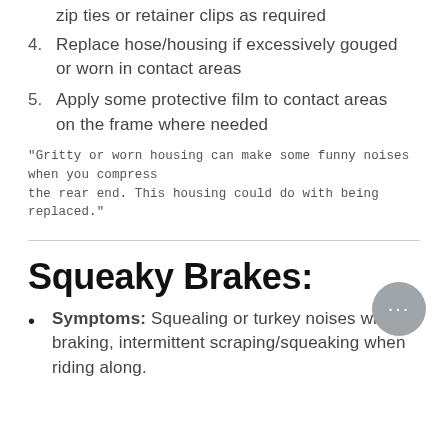zip ties or retainer clips as required
4. Replace hose/housing if excessively gouged or worn in contact areas
5. Apply some protective film to contact areas on the frame where needed
"Gritty or worn housing can make some funny noises when you compress the rear end. This housing could do with being replaced."
Squeaky Brakes:
Symptoms: Squealing or turkey noises when braking, intermittent scraping/squeaking when riding along.